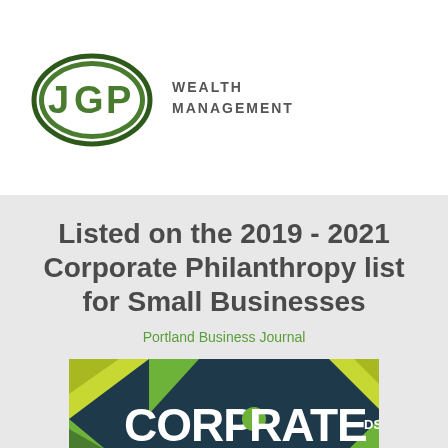[Figure (logo): JGP Wealth Management logo: green oval with white JGP letters, beside stacked text WEALTH MANAGEMENT]
Listed on the 2019 - 2021 Corporate Philanthropy list for Small Businesses
Portland Business Journal
[Figure (illustration): Corporate Philanthropy award graphic with teal/dark background and geometric green/yellow triangles, text reading CORPORATE]